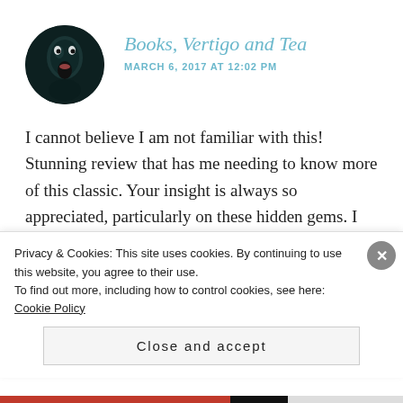[Figure (illustration): Circular avatar showing a person with mouth open wide in a scream, dark teal/black tones]
Books, Vertigo and Tea
MARCH 6, 2017 AT 12:02 PM
I cannot believe I am not familiar with this! Stunning review that has me needing to know more of this classic. Your insight is always so appreciated, particularly on these hidden gems. I also happen to be a fan of “nameless” narrators 😊
★ Liked by 1 person
Privacy & Cookies: This site uses cookies. By continuing to use this website, you agree to their use.
To find out more, including how to control cookies, see here: Cookie Policy
Close and accept